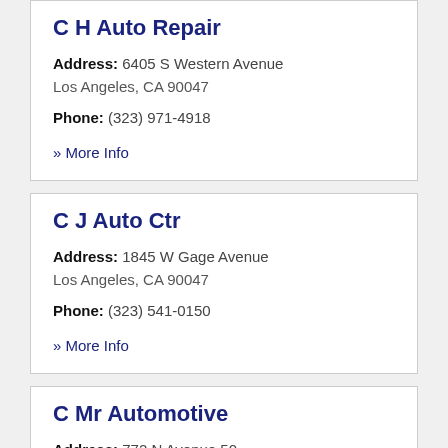C H Auto Repair
Address: 6405 S Western Avenue
Los Angeles, CA 90047
Phone: (323) 971-4918
» More Info
C J Auto Ctr
Address: 1845 W Gage Avenue
Los Angeles, CA 90047
Phone: (323) 541-0150
» More Info
C Mr Automotive
Address: 772 N Avenue 50